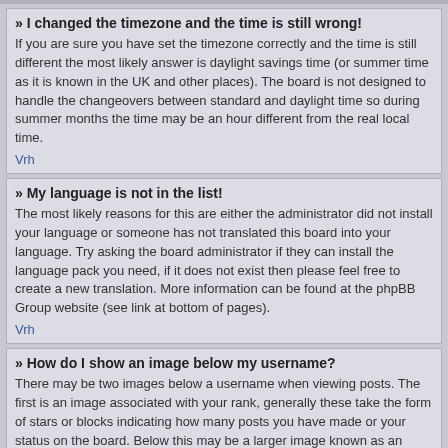» I changed the timezone and the time is still wrong!
If you are sure you have set the timezone correctly and the time is still different the most likely answer is daylight savings time (or summer time as it is known in the UK and other places). The board is not designed to handle the changeovers between standard and daylight time so during summer months the time may be an hour different from the real local time.
Vrh
» My language is not in the list!
The most likely reasons for this are either the administrator did not install your language or someone has not translated this board into your language. Try asking the board administrator if they can install the language pack you need, if it does not exist then please feel free to create a new translation. More information can be found at the phpBB Group website (see link at bottom of pages).
Vrh
» How do I show an image below my username?
There may be two images below a username when viewing posts. The first is an image associated with your rank, generally these take the form of stars or blocks indicating how many posts you have made or your status on the board. Below this may be a larger image known as an avatar, this is generally unique or personal to each user. It is up to the board administrator to enable avatars and